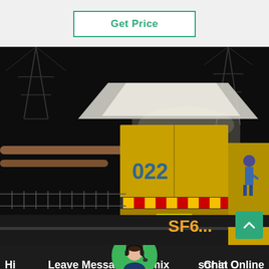Get Price
[Figure (photo): Night-time photograph at an electrical substation. A large yellow truck/container vehicle with the numbers '022' on the side is parked near a building. Workers in high-visibility gear are operating equipment. Power line towers are visible in the background. The scene is lit by artificial lighting.]
SF6...
Hi Leave Message6 mixer sor in C Chat Online